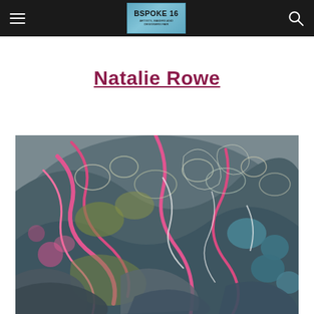BSPOKE 16 — Artists, Makers and Designers Fair
Natalie Rowe
[Figure (photo): Abstract fluid acrylic pour painting with swirling patterns of pink, teal, grey, olive, and white, resembling marbled stone or flowing liquid]